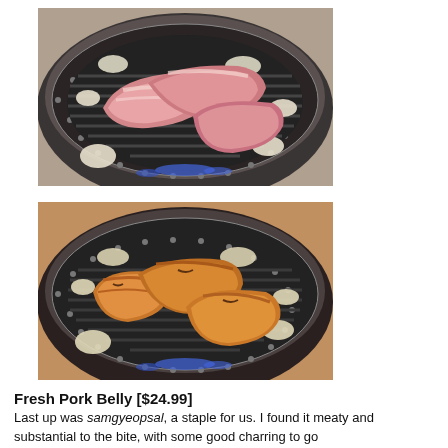[Figure (photo): Raw pork belly slices on a Korean BBQ grill with onion pieces, blue flames visible underneath the circular grill grate]
[Figure (photo): Partially cooked/grilled pork belly slices on a Korean BBQ grill with onion pieces, showing golden-brown charring, blue flames visible underneath]
Fresh Pork Belly [$24.99]
Last up was samgyeopsal, a staple for us. I found it meaty and substantial to the bite, with some good charring to go along with the great smoky flavors in the meat.